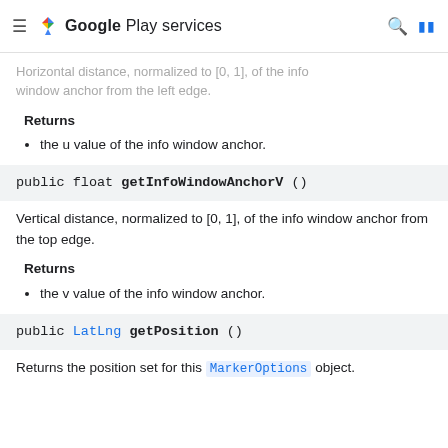Google Play services
Horizontal distance, normalized to [0, 1], of the info window anchor from the left edge.
Returns
the u value of the info window anchor.
public float getInfoWindowAnchorV ()
Vertical distance, normalized to [0, 1], of the info window anchor from the top edge.
Returns
the v value of the info window anchor.
public LatLng getPosition ()
Returns the position set for this MarkerOptions object.